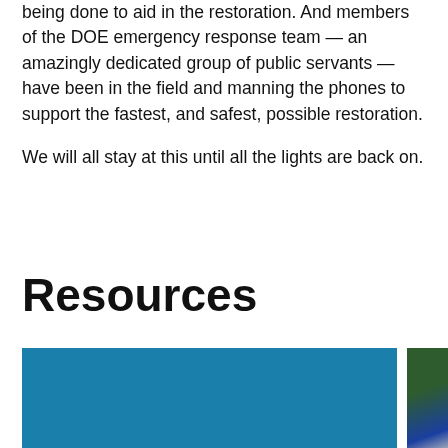being done to aid in the restoration. And members of the DOE emergency response team — an amazingly dedicated group of public servants — have been in the field and manning the phones to support the fastest, and safest, possible restoration.

We will all stay at this until all the lights are back on.
Resources
[Figure (photo): Blue background image (partial), possibly a resource card or banner]
[Figure (photo): Partial photo showing green foliage and blue, possibly another resource card]